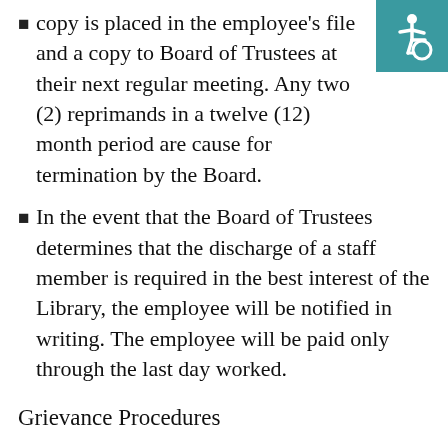copy is placed in the employee's file and a copy to Board of Trustees at their next regular meeting. Any two (2) reprimands in a twelve (12) month period are cause for termination by the Board.
In the event that the Board of Trustees determines that the discharge of a staff member is required in the best interest of the Library, the employee will be notified in writing. The employee will be paid only through the last day worked.
Grievance Procedures
Prompt resolution of personnel difficulties is important for good personnel relations in the operation of an efficient organization.  The Board of Trustees is committed to fair and just relations with its employees.
An employee who believes to have a justifiable grievance shall discuss the grievance with the Director.  If a
[Figure (illustration): Accessibility icon: white wheelchair user symbol on a teal/dark cyan square background, top-right corner of page.]